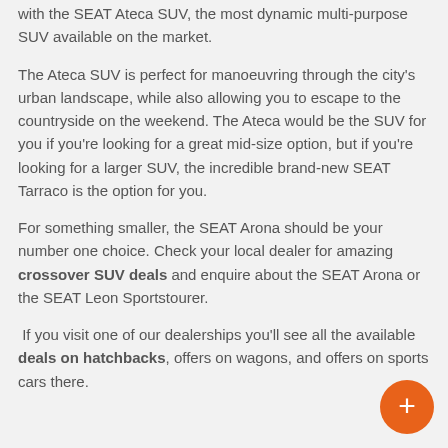with the SEAT Ateca SUV, the most dynamic multi-purpose SUV available on the market.
The Ateca SUV is perfect for manoeuvring through the city's urban landscape, while also allowing you to escape to the countryside on the weekend. The Ateca would be the SUV for you if you're looking for a great mid-size option, but if you're looking for a larger SUV, the incredible brand-new SEAT Tarraco is the option for you.
For something smaller, the SEAT Arona should be your number one choice. Check your local dealer for amazing crossover SUV deals and enquire about the SEAT Arona or the SEAT Leon Sportstourer.
If you visit one of our dealerships you'll see all the available deals on hatchbacks, offers on wagons, and offers on sports cars there.
[Figure (other): Orange circular floating action button with a plus (+) symbol in the bottom-right corner]